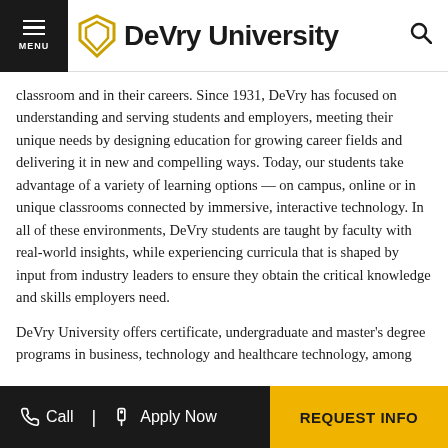DeVry University
classroom and in their careers. Since 1931, DeVry has focused on understanding and serving students and employers, meeting their unique needs by designing education for growing career fields and delivering it in new and compelling ways. Today, our students take advantage of a variety of learning options — on campus, online or in unique classrooms connected by immersive, interactive technology. In all of these environments, DeVry students are taught by faculty with real-world insights, while experiencing curricula that is shaped by input from industry leaders to ensure they obtain the critical knowledge and skills employers need.
DeVry University offers certificate, undergraduate and master's degree programs in business, technology and healthcare technology, among others. The university is institutionally accredited by The Higher Learning Commission (HLC, www.hlcommission.org) and is part of
Call | Apply Now | REQUEST INFO